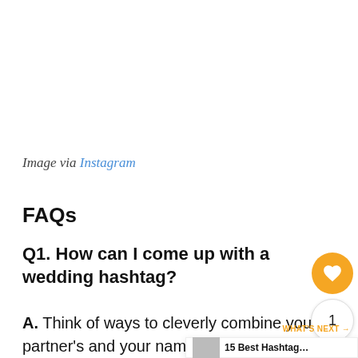Image via Instagram
FAQs
Q1. How can I come up with a wedding hashtag?
A. Think of ways to cleverly combine your partner's and your names to create r… puns, phrases, or pop culture references.